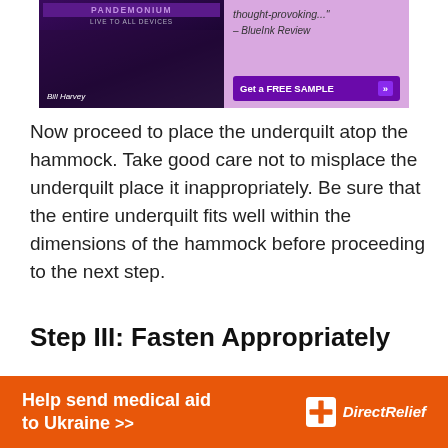[Figure (illustration): Advertisement banner for a book called 'Pandemonium: Live to All Devices' by Bill Harvey, with a purple background, crowd image, a quote 'thought-provoking...' from BlueInk Review, and a 'Get a FREE SAMPLE' button.]
Now proceed to place the underquilt atop the hammock. Take good care not to misplace the underquilt place it inappropriately. Be sure that the entire underquilt fits well within the dimensions of the hammock before proceeding to the next step.
Step III: Fasten Appropriately
After you have placed the underquilt in place, proceed to fasten tightly. This is to prevent it from swerving back and forth. It is also to guarantee
[Figure (illustration): Orange advertisement banner: 'Help send medical aid to Ukraine >>' with Direct Relief logo on the right.]